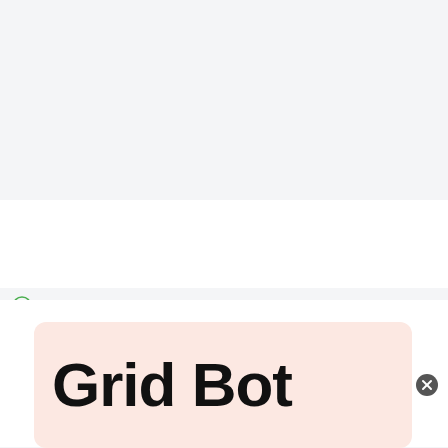[Figure (screenshot): Ezoic branding bar with logo and 'report this ad' text on light gray background]
[Figure (screenshot): Search bar with 'Search ...' placeholder text and dark gray search button with magnifying glass icon]
[Figure (screenshot): Pink/salmon rounded card with large bold black text reading 'Grid Bot']
[Figure (screenshot): Advertisement banner for Belk.com with title, description, URL, product images, close button, and arrow navigation button]